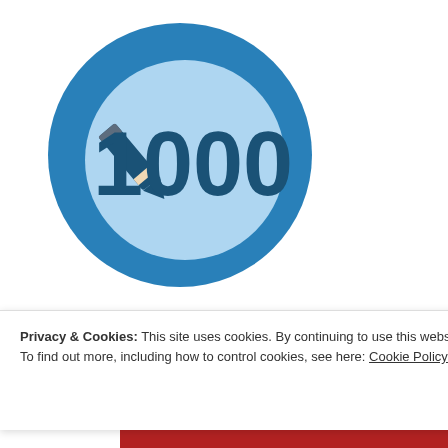[Figure (logo): Blue circular badge with '1000' and a pencil icon, on a light blue inner circle against a dark blue outer ring]
Advertisements
[Figure (illustration): Longreads advertisement banner — red background, Longreads logo (L in circle) with brand name, decorative lines, and partial headline 'The best stories on']
Privacy & Cookies: This site uses cookies. By continuing to use this website, you agree to their use.
To find out more, including how to control cookies, see here: Cookie Policy
Close and accept